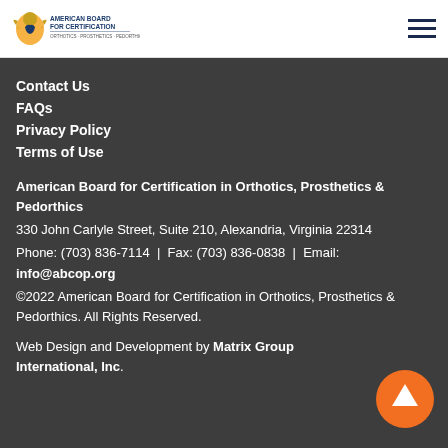American Board for Certification — logo and navigation menu
Contact Us
FAQs
Privacy Policy
Terms of Use
American Board for Certification in Orthotics, Prosthetics & Pedorthics
330 John Carlyle Street, Suite 210, Alexandria, Virginia 22314
Phone: (703) 836-7114 | Fax: (703) 836-0838 | Email: info@abcop.org
©2022 American Board for Certification in Orthotics, Prosthetics & Pedorthics. All Rights Reserved.
Web Design and Development by Matrix Group International, Inc.